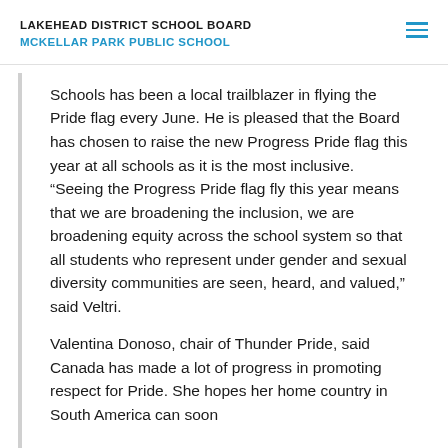LAKEHEAD DISTRICT SCHOOL BOARD
MCKELLAR PARK PUBLIC SCHOOL
Schools has been a local trailblazer in flying the Pride flag every June. He is pleased that the Board has chosen to raise the new Progress Pride flag this year at all schools as it is the most inclusive. “Seeing the Progress Pride flag fly this year means that we are broadening the inclusion, we are broadening equity across the school system so that all students who represent under gender and sexual diversity communities are seen, heard, and valued,” said Veltri.
Valentina Donoso, chair of Thunder Pride, said Canada has made a lot of progress in promoting respect for Pride. She hopes her home country in South America can soon